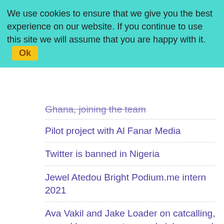We use cookies to ensure that we give you the best experience on our website. If you continue to use this site we will assume that you are happy with it. Ok
Ghana, joining the team
Pilot project with Al Fanar Media
Twitter is banned in Nigeria
Jewel Atedou Bright Podium.me intern 2021
Ava Vakil and Jake Loader on catcalling, sexual harassment, sexual violence and attitudes towards young women
Young Hunters in the UK
Dyspraxia awareness week
Our 3 year partnership with News Decoder
Podium online ‘Writing audio drama’ course